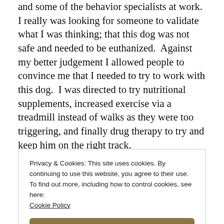The next day I was seeking advice from my manager and some of the behavior specialists at work.  I really was looking for someone to validate what I was thinking; that this dog was not safe and needed to be euthanized.  Against my better judgement I allowed people to convince me that I needed to try to work with this dog.  I was directed to try nutritional supplements, increased exercise via a treadmill instead of walks as they were too triggering, and finally drug therapy to try and keep him on the right track.
Privacy & Cookies: This site uses cookies. By continuing to use this website, you agree to their use.
To find out more, including how to control cookies, see here:
Cookie Policy
Close and accept
cages and socialize.  That meant that the dogs retired